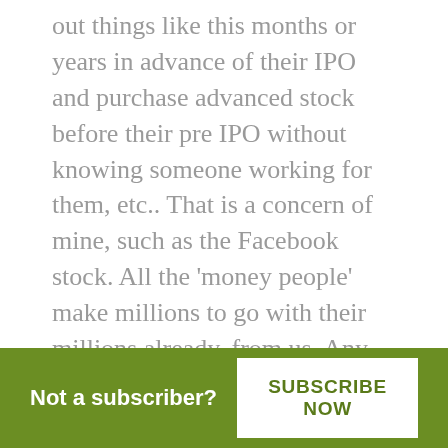out things like this months or years in advance of their IPO and purchase advanced stock before their pre IPO without knowing someone working for them, etc.. That is a concern of mine, such as the Facebook stock. All the 'money people' make millions to go with their millions already, from us. Any 'ideas' how we can 'get in line' before the IPO? Please let me know of any way to do so.
Not a subscriber?
SUBSCRIBE NOW